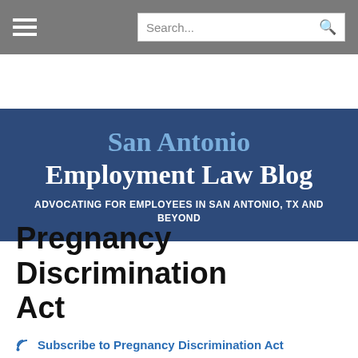San Antonio Employment Law Blog — Navigation bar with hamburger menu and search
San Antonio Employment Law Blog — ADVOCATING FOR EMPLOYEES IN SAN ANTONIO, TX AND BEYOND
Pregnancy Discrimination Act
Subscribe to Pregnancy Discrimination Act